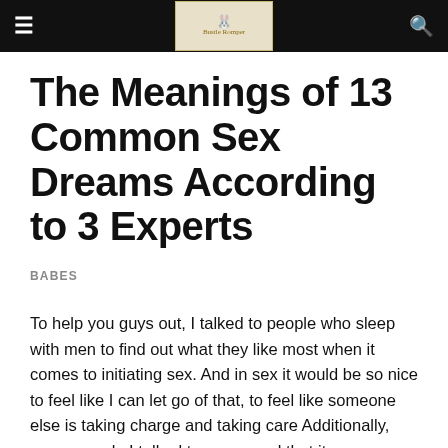≡  [Logo: Bustle/Romper]  🔍
The Meanings of 13 Common Sex Dreams According to 3 Experts
BABES
To help you guys out, I talked to people who sleep with men to find out what they like most when it comes to initiating sex. And in sex it would be so nice to feel like I can let go of that, to feel like someone else is taking charge and taking care Additionally, many people I talked to expressed that it was mega-hot when their partner demonstrated desire for them specifically as opposed to just being a ball of horniness who needs to come. Consider setting